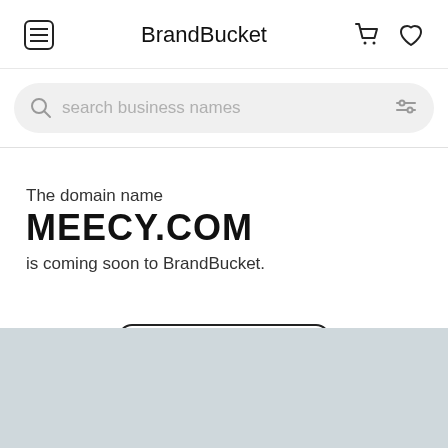BrandBucket
search business names
The domain name
MEECY.COM
is coming soon to BrandBucket.
Inquire